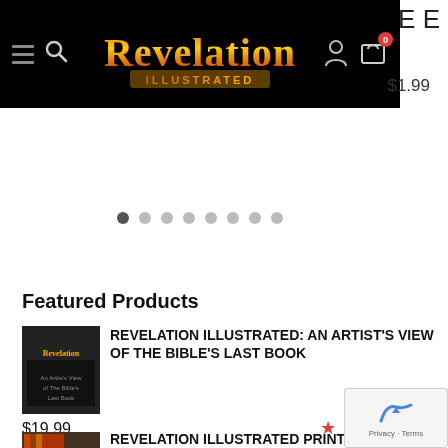EE
[Figure (logo): Revelation Illustrated logo with navigation bar including hamburger menu, search icon, user icon, and cart icon with badge showing 0]
$1.99
[Figure (other): Carousel pagination dots, 8 dots with first one active]
Featured Products
[Figure (photo): Book cover thumbnail for Revelation Illustrated: An Artist's View of the Bible's Last Book]
REVELATION ILLUSTRATED: AN ARTIST'S VIEW OF THE BIBLE'S LAST BOOK
$19.99
[Figure (photo): Thumbnail for Revelation Illustrated Print Series]
REVELATION ILLUSTRATED PRINT SERIES